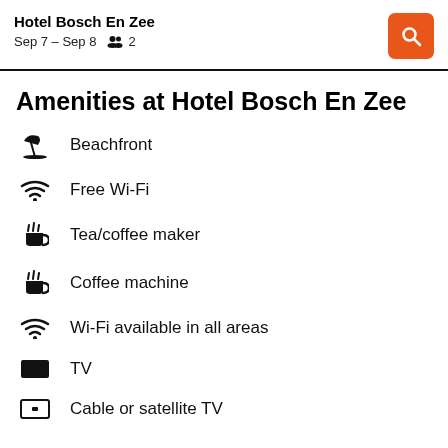Hotel Bosch En Zee
Sep 7 – Sep 8   2
Amenities at Hotel Bosch En Zee
Beachfront
Free Wi-Fi
Tea/coffee maker
Coffee machine
Wi-Fi available in all areas
TV
Cable or satellite TV